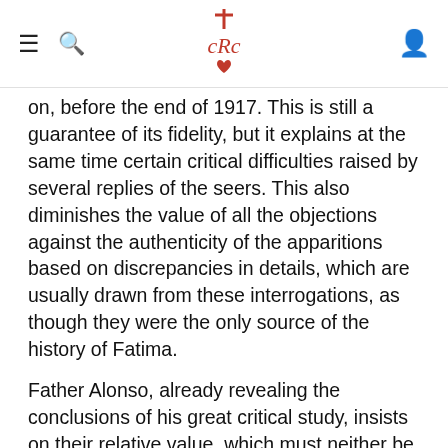CRC logo header with navigation icons
on, before the end of 1917. This is still a guarantee of its fidelity, but it explains at the same time certain critical difficulties raised by several replies of the seers. This also diminishes the value of all the objections against the authenticity of the apparitions based on discrepancies in details, which are usually drawn from these interrogations, as though they were the only source of the history of Fatima.
Father Alonso, already revealing the conclusions of his great critical study, insists on their relative value, which must neither be minimized nor exaggerated. In short, they should always be compared with the other